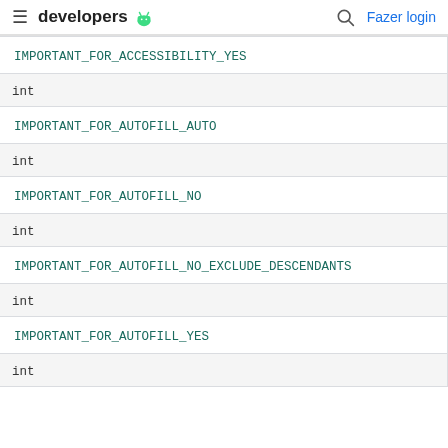developers
| IMPORTANT_FOR_ACCESSIBILITY_YES |
| int |
| IMPORTANT_FOR_AUTOFILL_AUTO |
| int |
| IMPORTANT_FOR_AUTOFILL_NO |
| int |
| IMPORTANT_FOR_AUTOFILL_NO_EXCLUDE_DESCENDANTS |
| int |
| IMPORTANT_FOR_AUTOFILL_YES |
| int |